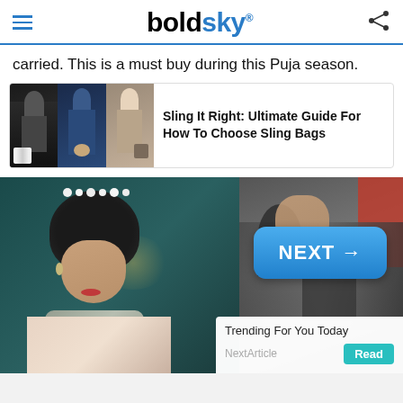boldsky
carried. This is a must buy during this Puja season.
[Figure (photo): Related article card with thumbnail images of women with sling bags]
Sling It Right: Ultimate Guide For How To Choose Sling Bags
[Figure (photo): Main photo: left side shows a woman with floral headpiece and ornate necklace looking down; right side shows a crowd scene with a blue NEXT button overlay and a Trending For You Today panel with NextArticle and Read button]